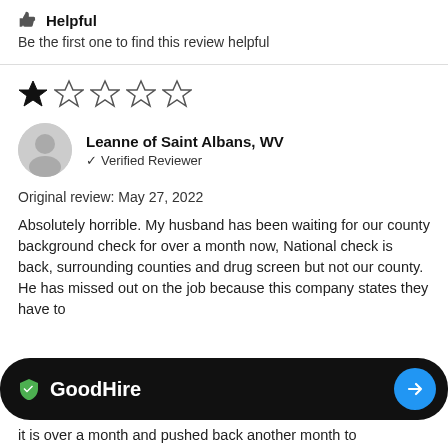Helpful
Be the first one to find this review helpful
[Figure (other): 1 out of 5 stars rating (one filled star, four empty stars)]
Leanne of Saint Albans, WV
✓ Verified Reviewer
Original review: May 27, 2022
Absolutely horrible. My husband has been waiting for our county background check for over a month now, National check is back, surrounding counties and drug screen but not our county. He has missed out on the job because this company states they have to
[Figure (logo): GoodHire banner with shield logo and arrow button]
it is over a month and pushed back another month to